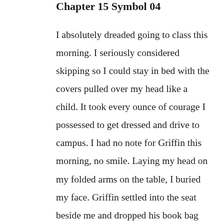Chapter 15 Symbol 04
I absolutely dreaded going to class this morning. I seriously considered skipping so I could stay in bed with the covers pulled over my head like a child. It took every ounce of courage I possessed to get dressed and drive to campus. I had no note for Griffin this morning, no smile. Laying my head on my folded arms on the table, I buried my face. Griffin settled into the seat beside me and dropped his book bag on the floor between us. Tensing as I held my breath, I waited for his degradation, but it never came. Maybe he was